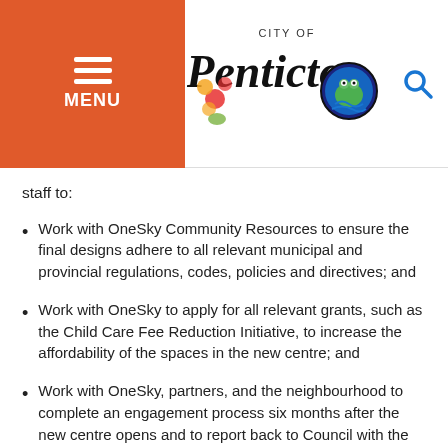[Figure (logo): City of Penticton logo with colorful floral and frog design, with hamburger menu button on the left and search icon on the right]
staff to:
Work with OneSky Community Resources to ensure the final designs adhere to all relevant municipal and provincial regulations, codes, policies and directives; and
Work with OneSky to apply for all relevant grants, such as the Child Care Fee Reduction Initiative, to increase the affordability of the spaces in the new centre; and
Work with OneSky, partners, and the neighbourhood to complete an engagement process six months after the new centre opens and to report back to Council with the results.